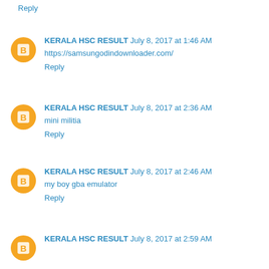Reply
KERALA HSC RESULT July 8, 2017 at 1:46 AM
https://samsungodindownloader.com/
Reply
KERALA HSC RESULT July 8, 2017 at 2:36 AM
mini militia
Reply
KERALA HSC RESULT July 8, 2017 at 2:46 AM
my boy gba emulator
Reply
KERALA HSC RESULT July 8, 2017 at 2:59 AM